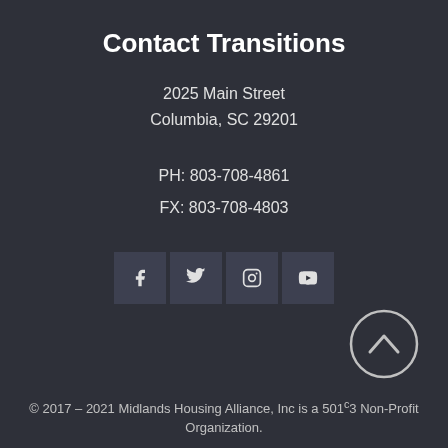Contact Transitions
2025 Main Street
Columbia, SC 29201
PH: 803-708-4861
FX: 803-708-4803
[Figure (other): Four social media icon buttons: Facebook, Twitter, Instagram, YouTube]
[Figure (other): Back to top circular arrow button]
© 2017 – 2021 Midlands Housing Alliance, Inc is a 501°3 Non-Profit Organization.